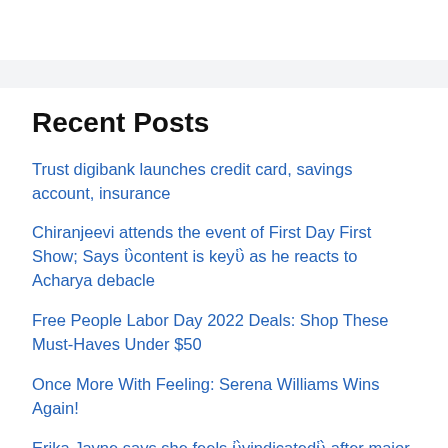Recent Posts
Trust digibank launches credit card, savings account, insurance
Chiranjeevi attends the event of First Day First Show; Says ‘content is key’ as he reacts to Acharya debacle
Free People Labor Day 2022 Deals: Shop These Must-Haves Under $50
Once More With Feeling: Serena Williams Wins Again!
Erika Jayne says she feels ‘vindicated’ after major legal win in estranged husband’s fraud